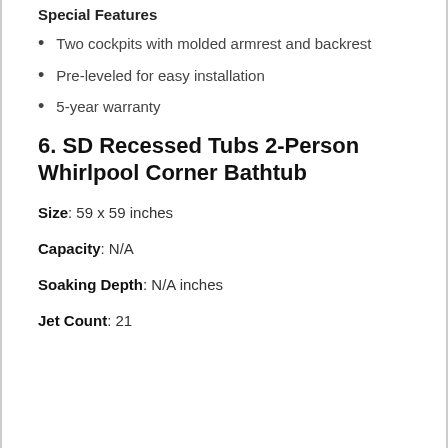Special Features
Two cockpits with molded armrest and backrest
Pre-leveled for easy installation
5-year warranty
6. SD Recessed Tubs 2-Person Whirlpool Corner Bathtub
Size: 59 x 59 inches
Capacity: N/A
Soaking Depth: N/A inches
Jet Count: 21